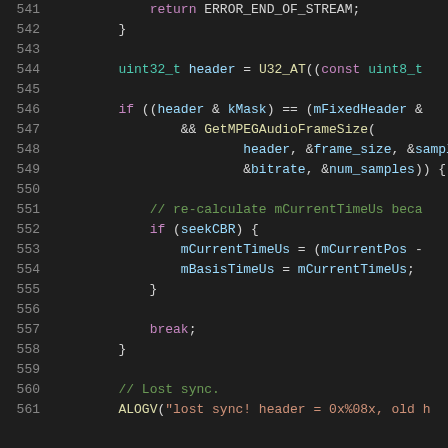[Figure (screenshot): Source code screenshot showing C++ code lines 541-561 with syntax highlighting on dark background. Lines show error return, header parsing, MPEG audio frame detection, time calculation, and sync loss handling.]